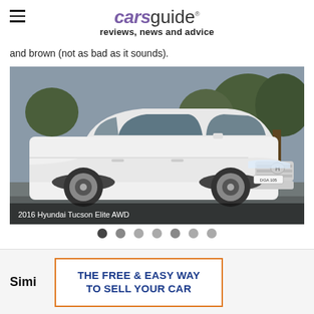carsguide reviews, news and advice
and brown (not as bad as it sounds).
[Figure (photo): 2016 Hyundai Tucson Elite AWD — white SUV parked on a street with trees in background]
2016 Hyundai Tucson Elite AWD
[Figure (other): Carousel navigation dots — 7 dots indicating image gallery position]
Simi
[Figure (other): Advertisement banner: THE FREE & EASY WAY TO SELL YOUR CAR]